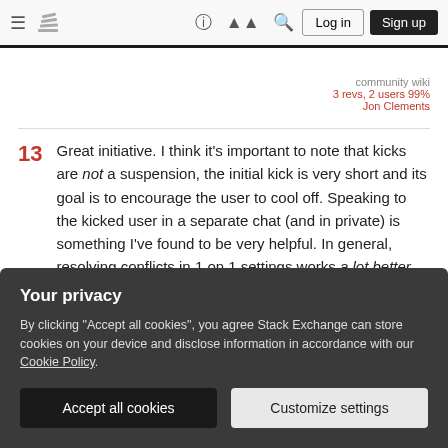Stack Exchange navigation bar with hamburger menu, logo, help, chat, search icons, Log in and Sign up buttons
community wiki
3 revs, 2 users 99%
Jon Clements
13  Great initiative. I think it's important to note that kicks are not a suspension, the initial kick is very short and its goal is to encourage the user to cool off. Speaking to the kicked user in a separate chat (and in private) is something I've found to be very helpful. In general, resolving conflicts in 1 on 1 settings works a lot better.
Your privacy
By clicking "Accept all cookies", you agree Stack Exchange can store cookies on your device and disclose information in accordance with our Cookie Policy.
Accept all cookies  Customize settings